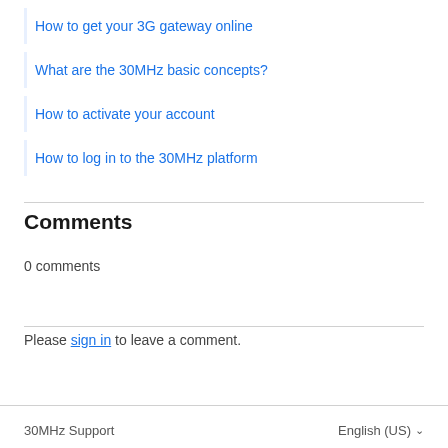How to get your 3G gateway online
What are the 30MHz basic concepts?
How to activate your account
How to log in to the 30MHz platform
Comments
0 comments
Please sign in to leave a comment.
30MHz Support     English (US)